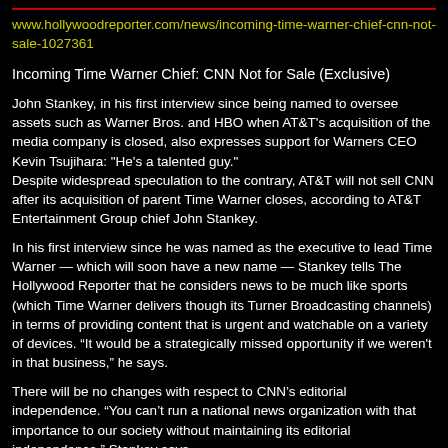www.hollywoodreporter.com/news/incoming-time-warner-chief-cnn-not-sale-1027361
Incoming Time Warner Chief: CNN Not for Sale (Exclusive)
John Stankey, in his first interview since being named to oversee assets such as Warner Bros. and HBO when AT&T's acquisition of the media company is closed, also expresses support for Warners CEO Kevin Tsujihara: "He's a talented guy."
Despite widespread speculation to the contrary, AT&T will not sell CNN after its acquisition of parent Time Warner closes, according to AT&T Entertainment Group chief John Stankey.
In his first interview since he was named as the executive to lead Time Warner — which will soon have a new name — Stankey tells The Hollywood Reporter that he considers news to be much like sports (which Time Warner delivers though its Turner Broadcasting channels) in terms of providing content that is urgent and watchable on a variety of devices. “It would be a strategically missed opportunity if we weren't in that business,” he says.
There will be no changes with respect to CNN’s editorial independence. “You can’t run a national news organization with that importance to our society without maintaining its editorial independence,” Stankey says.